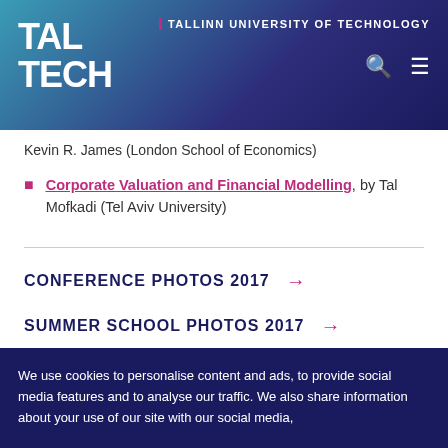TALLINN UNIVERSITY OF TECHNOLOGY
Kevin R. James (London School of Economics)
Corporate Valuation and Financial Modelling, by Tal Mofkadi (Tel Aviv University)
CONFERENCE PHOTOS 2017 →
SUMMER SCHOOL PHOTOS 2017 →
We use cookies to personalise content and ads, to provide social media features and to analyse our traffic. We also share information about your use of our site with our social media,